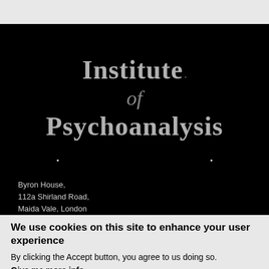[Figure (logo): Institute of Psychoanalysis logo on black background with large serif text]
Byron House,
112a Shirland Road,
Maida Vale, London
We use cookies on this site to enhance your user experience
By clicking the Accept button, you agree to us doing so.
Give me more info
OK, I agree